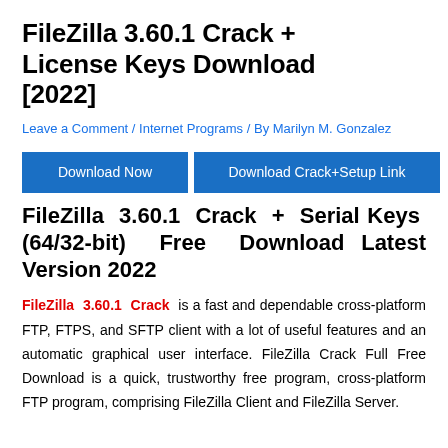FileZilla 3.60.1 Crack + License Keys Download [2022]
Leave a Comment / Internet Programs / By Marilyn M. Gonzalez
[Figure (other): Two blue download buttons: 'Download Now' and 'Download Crack+Setup Link']
FileZilla 3.60.1 Crack + Serial Keys (64/32-bit) Free Download Latest Version 2022
FileZilla 3.60.1 Crack is a fast and dependable cross-platform FTP, FTPS, and SFTP client with a lot of useful features and an automatic graphical user interface. FileZilla Crack Full Free Download is a quick, trustworthy free program, cross-platform FTP program, comprising FileZilla Client and FileZilla Server.